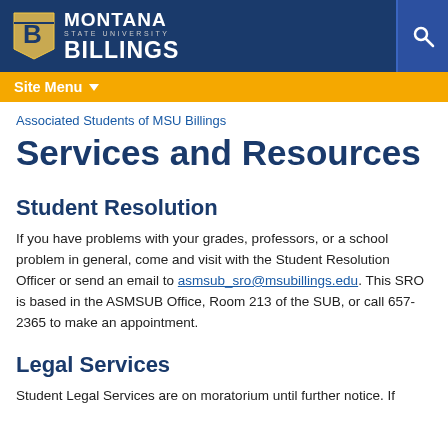Montana State University Billings
Site Menu
Associated Students of MSU Billings
Services and Resources
Student Resolution
If you have problems with your grades, professors, or a school problem in general, come and visit with the Student Resolution Officer or send an email to asmsub_sro@msubillings.edu. This SRO is based in the ASMSUB Office, Room 213 of the SUB, or call 657-2365 to make an appointment.
Legal Services
Student Legal Services are on moratorium until further notice. If